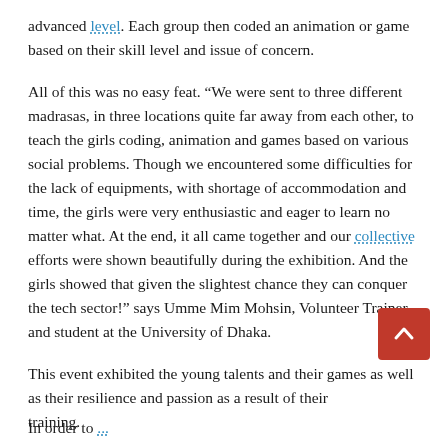advanced level. Each group then coded an animation or game based on their skill level and issue of concern.
All of this was no easy feat. “We were sent to three different madrasas, in three locations quite far away from each other, to teach the girls coding, animation and games based on various social problems. Though we encountered some difficulties for the lack of equipments, with shortage of accommodation and time, the girls were very enthusiastic and eager to learn no matter what. At the end, it all came together and our collective efforts were shown beautifully during the exhibition. And the girls showed that given the slightest chance they can conquer the tech sector!” says Umme Mim Mohsin, Volunteer Trainer and student at the University of Dhaka.
This event exhibited the young talents and their games as well as their resilience and passion as a result of their training.
In order to...